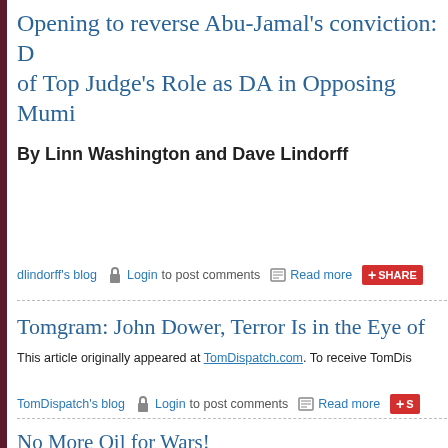Opening to reverse Abu-Jamal's conviction: Discovery of Top Judge's Role as DA in Opposing Mumi...
By Linn Washington and Dave Lindorff
dlindorff's blog  Login to post comments  Read more  SHARE
Tomgram: John Dower, Terror Is in the Eye of...
This article originally appeared at TomDispatch.com. To receive TomDis...
TomDispatch's blog  Login to post comments  Read more  S...
No More Oil for Wars!
[Figure (screenshot): Video thumbnail showing Swanson715 pleaseDontPostponeTheEarth 1 with a YouTube-style player, showing a man speaking outdoors with trees in background and a purple banner.]